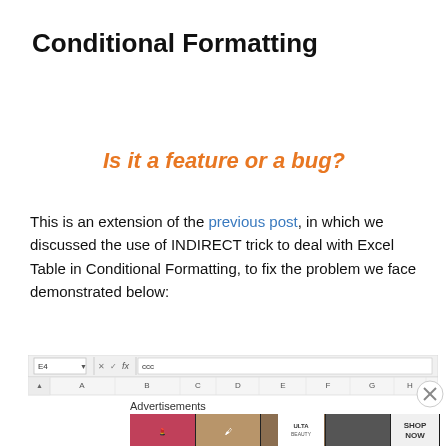Conditional Formatting
Is it a feature or a bug?
This is an extension of the previous post, in which we discussed the use of INDIRECT trick to deal with Excel Table in Conditional Formatting, to fix the problem we face demonstrated below:
[Figure (screenshot): Excel spreadsheet screenshot showing formula bar with 'ccc' and column headers A through I]
Advertisements
[Figure (photo): Ulta Beauty advertisement banner with makeup/beauty product images and 'SHOP NOW' text]